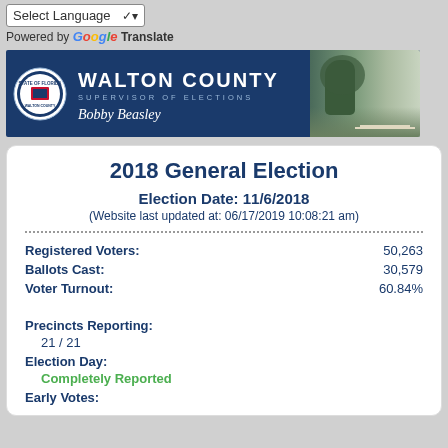Select Language  ▼
Powered by Google Translate
[Figure (illustration): Walton County Supervisor of Elections banner with county seal, text 'WALTON COUNTY SUPERVISOR OF ELECTIONS Bobby Beasley', and a photo of trees and a road]
2018 General Election
Election Date: 11/6/2018
(Website last updated at: 06/17/2019 10:08:21 am)
Registered Voters: 50,263
Ballots Cast: 30,579
Voter Turnout: 60.84%
Precincts Reporting:
21 / 21
Election Day:
Completely Reported
Early Votes: